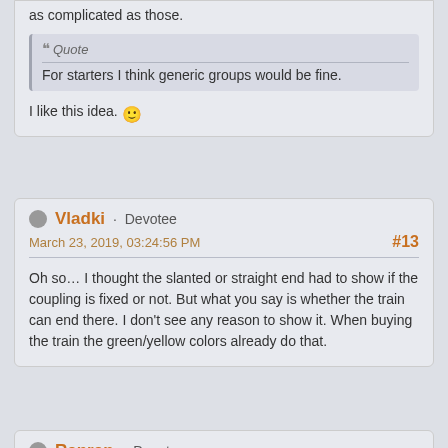as complicated as those.
Quote
For starters I think generic groups would be fine.
I like this idea. 🙂
Vladki · Devotee
March 23, 2019, 03:24:56 PM
#13
Oh so… I thought the slanted or straight end had to show if the coupling is fixed or not. But what you say is whether the train can end there. I don't see any reason to show it. When buying the train the green/yellow colors already do that.
Ranran · Devotee
March 23, 2019, 04:02:38 PM
#14